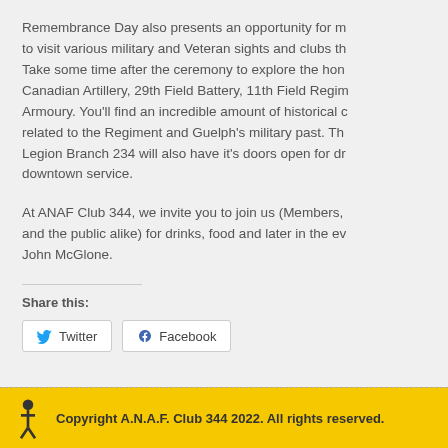Remembrance Day also presents an opportunity for members to visit various military and Veteran sights and clubs throughout. Take some time after the ceremony to explore the home of Canadian Artillery, 29th Field Battery, 11th Field Regiment Armoury. You'll find an incredible amount of historical content related to the Regiment and Guelph's military past. The Legion Branch 234 will also have it's doors open for drinks post downtown service.
At ANAF Club 344, we invite you to join us (Members, Veterans and the public alike) for drinks, food and later in the evening, John McGlone.
Share this:
Copyright A.N.A.F. Club 344 2022. All rights reserved.